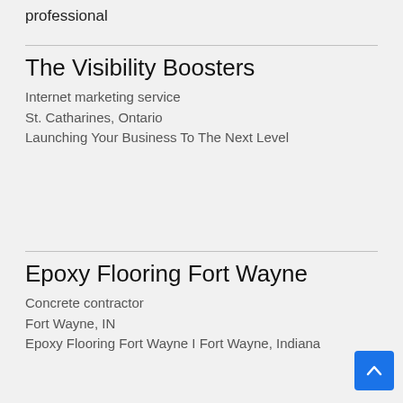professional
The Visibility Boosters
Internet marketing service
St. Catharines, Ontario
Launching Your Business To The Next Level
Epoxy Flooring Fort Wayne
Concrete contractor
Fort Wayne, IN
Epoxy Flooring Fort Wayne I Fort Wayne, Indiana